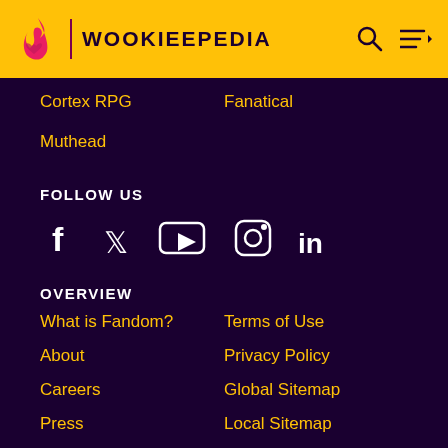WOOKIEEPEDIA
Cortex RPG
Fanatical
Muthead
FOLLOW US
[Figure (other): Social media icons: Facebook, Twitter, YouTube, Instagram, LinkedIn]
OVERVIEW
What is Fandom?
Terms of Use
About
Privacy Policy
Careers
Global Sitemap
Press
Local Sitemap